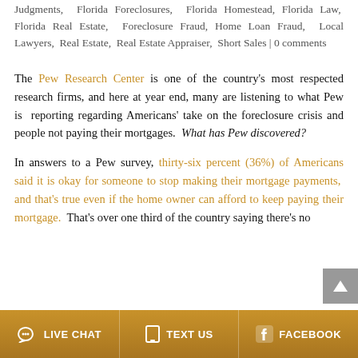by Larry Tolchinsky | Appraisal Fraud, Deficiency Judgments, Florida Foreclosures, Florida Homestead, Florida Law, Florida Real Estate, Foreclosure Fraud, Home Loan Fraud, Local Lawyers, Real Estate, Real Estate Appraiser, Short Sales | 0 comments
The Pew Research Center is one of the country's most respected research firms, and here at year end, many are listening to what Pew is reporting regarding Americans' take on the foreclosure crisis and people not paying their mortgages. What has Pew discovered?
In answers to a Pew survey, thirty-six percent (36%) of Americans said it is okay for someone to stop making their mortgage payments, and that's true even if the home owner can afford to keep paying their mortgage. That's over one third of the country saying there's no
LIVE CHAT | TEXT US | FACEBOOK